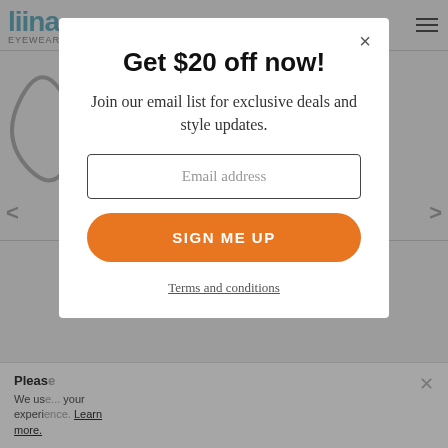[Figure (screenshot): Website background showing eyewear brand 'liina EYEWEAR' with logo top-left, hamburger menu top-right, partial glasses image on left, left/right navigation arrows, and a cookie consent bar at the bottom.]
Get $20 off now!
Join our email list for exclusive deals and style updates.
Email address
SIGN ME UP
Terms and conditions